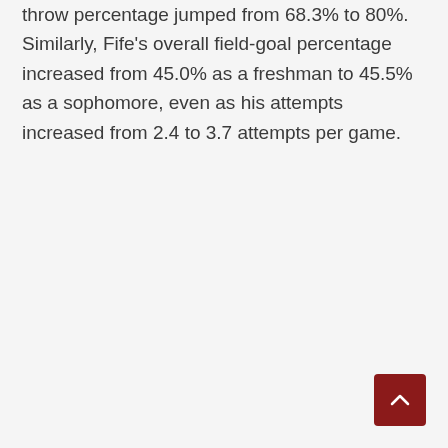throw percentage jumped from 68.3% to 80%. Similarly, Fife's overall field-goal percentage increased from 45.0% as a freshman to 45.5% as a sophomore, even as his attempts increased from 2.4 to 3.7 attempts per game.